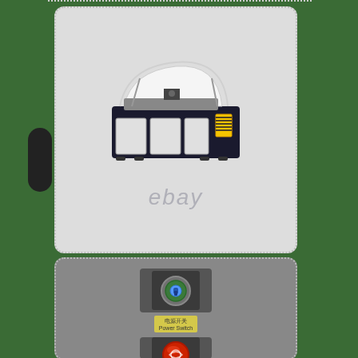[Figure (photo): Laser engraving/cutting machine with open lid, white top cover, black body, yellow warning label on right side, viewed from angle. Shows industrial laser cutter machine. eBay watermark at bottom.]
[Figure (photo): Close-up of laser machine control panel showing a key/power switch with blue indicator light in a recessed rectangular slot, a yellow label reading '电源开关 Power Switch', and a red emergency stop button partially visible below.]